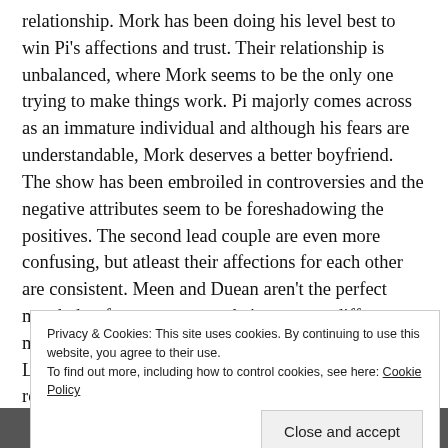relationship. Mork has been doing his level best to win Pi's affections and trust. Their relationship is unbalanced, where Mork seems to be the only one trying to make things work. Pi majorly comes across as an immature individual and although his fears are understandable, Mork deserves a better boyfriend. The show has been embroiled in controversies and the negative attributes seem to be foreshadowing the positives. The second lead couple are even more confusing, but atleast their affections for each other are consistent. Meen and Duean aren't the perfect match, but for some reason their apparent differences make this couple seemingly viable. Neo Trai and Louis Thanawin have an unbiased chemistry which is reckoning.
Privacy & Cookies: This site uses cookies. By continuing to use this website, you agree to their use. To find out more, including how to control cookies, see here: Cookie Policy
Close and accept
[Figure (photo): Bottom strip showing a partial photo, appears dark/shadowed]